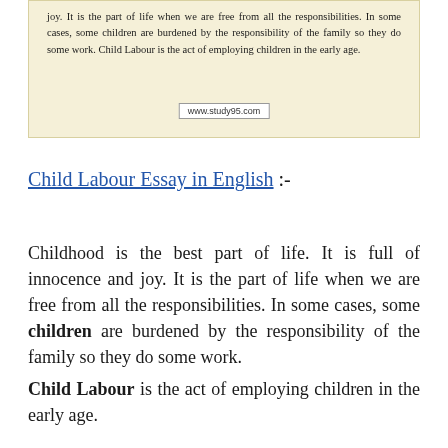joy. It is the part of life when we are free from all the responsibilities. In some cases, some children are burdened by the responsibility of the family so they do some work. Child Labour is the act of employing children in the early age.
www.study95.com
Child Labour Essay in English :-
Childhood is the best part of life. It is full of innocence and joy. It is the part of life when we are free from all the responsibilities. In some cases, some children are burdened by the responsibility of the family so they do some work.
Child Labour is the act of employing children in the early age.